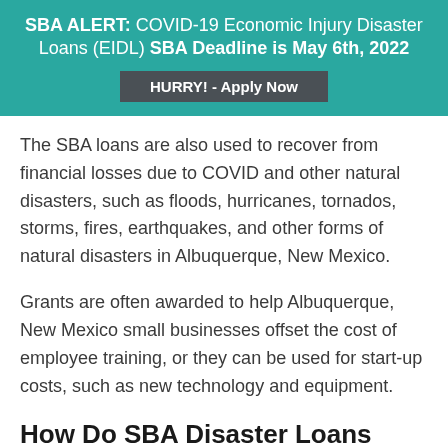SBA ALERT: COVID-19 Economic Injury Disaster Loans (EIDL) SBA Deadline is May 6th, 2022
HURRY! - Apply Now
The SBA loans are also used to recover from financial losses due to COVID and other natural disasters, such as floods, hurricanes, tornados, storms, fires, earthquakes, and other forms of natural disasters in Albuquerque, New Mexico.
Grants are often awarded to help Albuquerque, New Mexico small businesses offset the cost of employee training, or they can be used for start-up costs, such as new technology and equipment.
How Do SBA Disaster Loans Work in Albuquerque, NM?